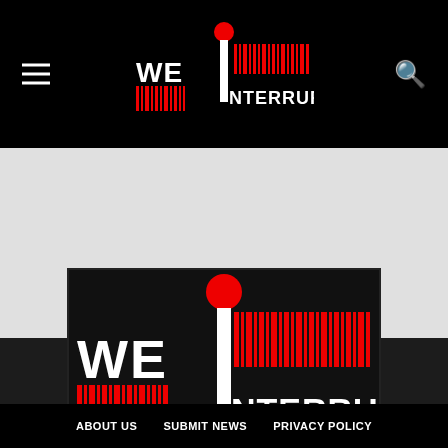[Figure (logo): We Interrupt logo in header: barcode-style graphic with red dot, white text reading WE INTERRUPT on black background, hamburger menu icon left, search icon right]
[Figure (logo): Large We Interrupt logo centered in footer area: barcode-style red and white graphic with red dot, white text WE INTERRUPT on black background]
ABOUT US   SUBMIT NEWS   PRIVACY POLICY